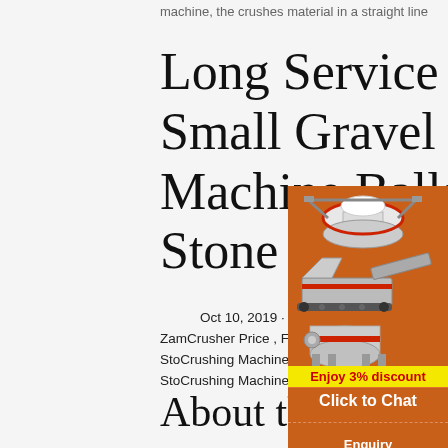machine, the crushes material in a straight line
Long Service Life Small Gravel Machine Ballast Stone ...
Oct 10, 2019 · Long Service Life Small Gravel Machine Ballast Stone Crushing Machine Zambia Jaw Crusher Price , Find Complete Details about Long Service Life Small Gravel Machine Ballast Stone Crushing Machine Zambia Jaw Crusher Price,Stone Crasher Machine Crushing Plant,Mountain Stone Crushing Machine,Diesel Stone To Powder Crushing Machine from Crusher Supplier or Manufacturer-
[Figure (illustration): Orange sidebar advertisement showing industrial crushing/grinding machines (vertical shaft crusher, mobile crusher, cone mill) on an orange background with 'Enjoy 3% discount', 'Click to Chat', 'Enquiry', and 'limingjlmofen@sina.com' text]
About this site